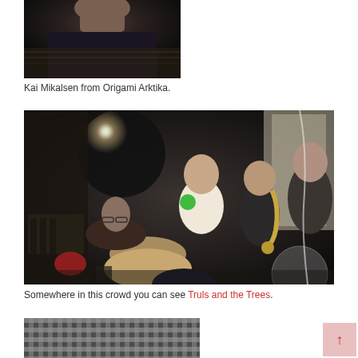[Figure (photo): Close-up photo of Kai Mikalsen from Origami Arktika, dark background showing hands and partial figure]
Kai Mikalsen from Origami Arktika.
[Figure (photo): A crowd scene in a dimly lit room with people playing music including saxophone and guitar, bright flash light in background]
Somewhere in this crowd you can see Truls and the Trees.
[Figure (photo): Partial view of a disco ball, silver and reflective]